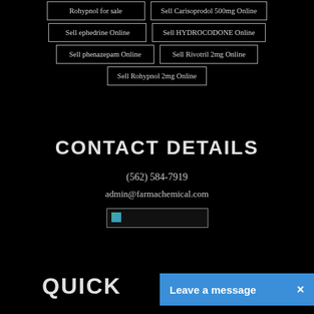Rohypnol for sale
Sell Carisoprodol 500mg Online
Sell ephedrine Online
Sell HYDROCODONE Online
Sell phenazepam Online
Sell Rivotril 2mg Online
Sell Rohypnol 2mg Online
CONTACT DETAILS
(562) 584-7919
admin@farmachemical.com
[Figure (other): Small broken image placeholder]
QUICK
Leave a message